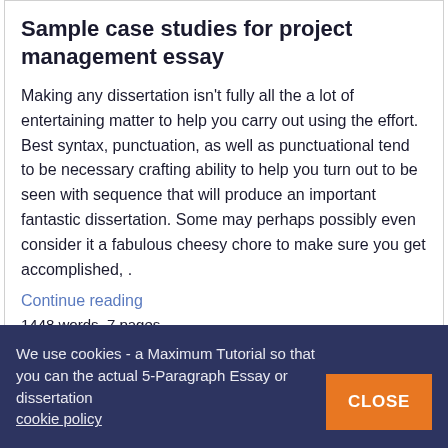Sample case studies for project management essay
Making any dissertation isn’t fully all the a lot of entertaining matter to help you carry out using the effort. Best syntax, punctuation, as well as punctuational tend to be necessary crafting ability to help you turn out to be seen with sequence that will produce an important fantastic dissertation. Some may perhaps possibly even consider it a fabulous cheesy chore to make sure you get accomplished, .
Continue reading
1448 words, 7 pages
Nietzsche on truth and lies in a nonmoral
We use cookies - a Maximum Tutorial so that you can the actual 5-Paragraph Essay or dissertation cookie policy
CLOSE